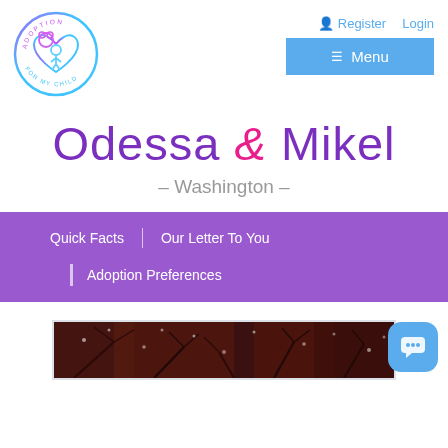[Figure (logo): Adoption For My Child circular logo with gradient purple-pink-blue colors showing stylized bear/child figure inside a heart]
Register   Login   ☰ Menu
Odessa & Mikel
– Washington –
Quick Facts
Our Letter To You
Adoption Preferences
[Figure (photo): Dark reddish-brown photo of bare tree branches with snow, partially visible at bottom of page]